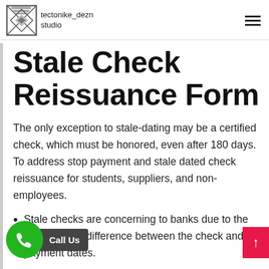tectonike_dezn studio
Stale Check Reissuance Form
The only exception to stale-dating may be a certified check, which must be honored, even after 180 days. To address stop payment and stale dated check reissuance for students, suppliers, and non-employees.
Stale checks are concerning to banks due to the considerable difference between the check and payment dates.